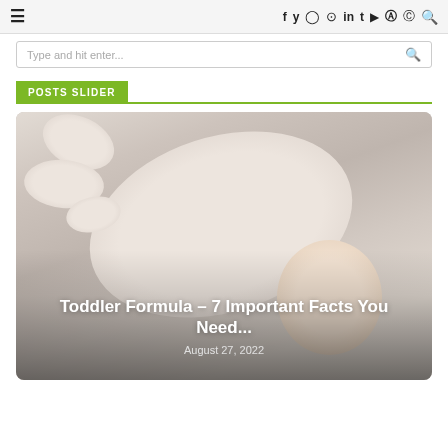≡   f y ⊙ ⊕ in t ▶ ⌥ ⊕ 🔍
Type and hit enter...
POSTS SLIDER
[Figure (photo): Baby lying on white surface looking up at camera — article thumbnail for 'Toddler Formula – 7 Important Facts You Need...']
Toddler Formula – 7 Important Facts You Need...
August 27, 2022